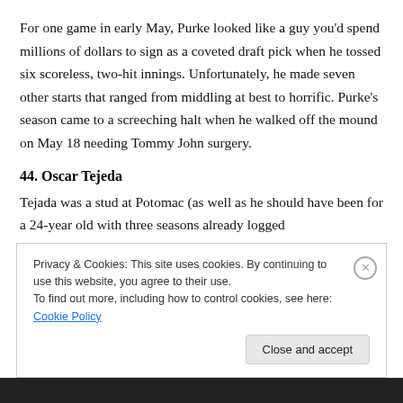For one game in early May, Purke looked like a guy you'd spend millions of dollars to sign as a coveted draft pick when he tossed six scoreless, two-hit innings. Unfortunately, he made seven other starts that ranged from middling at best to horrific. Purke's season came to a screeching halt when he walked off the mound on May 18 needing Tommy John surgery.
44. Oscar Tejeda
Tejada was a stud at Potomac (as well as he should have been for a 24-year old with three seasons already logged at Double-A or higher), but it is important to note his age and...
Privacy & Cookies: This site uses cookies. By continuing to use this website, you agree to their use.
To find out more, including how to control cookies, see here: Cookie Policy